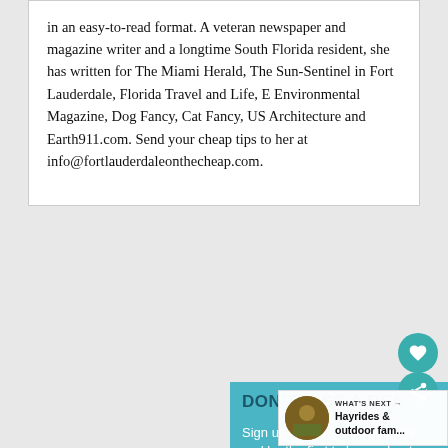in an easy-to-read format. A veteran newspaper and magazine writer and a longtime South Florida resident, she has written for The Miami Herald, The Sun-Sentinel in Fort Lauderdale, Florida Travel and Life, E Environmental Magazine, Dog Fancy, Cat Fancy, US Architecture and Earth911.com. Send your cheap tips to her at info@fortlauderdaleonthecheap.com.
[Figure (screenshot): A teal promotional banner reading 'DON'T MISS A DEAL' with a sign-up prompt for free email updates. Overlaid with a 'WHAT'S NEXT' widget showing 'Hayrides & outdoor fam...' with a circular photo, and teal circular heart and share buttons.]